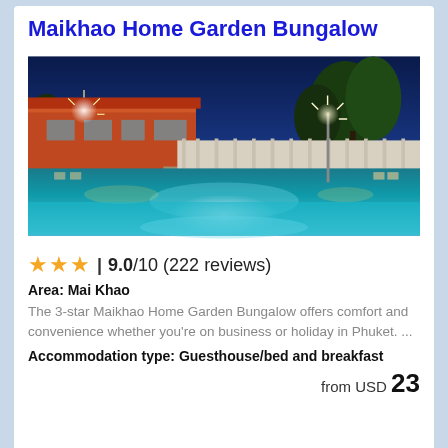Maikhao Home Garden Bungalow
[Figure (photo): Night-time photo of a swimming pool at Maikhao Home Garden Bungalow, with orange-lit building on the left, palm trees on the right, and a deep blue evening sky. Pool water is illuminated with teal reflections.]
★★★ | 9.0/10 (222 reviews)
Area: Mai Khao
The 3-star Maikhao Home Garden Bungalow offers comfort and convenience whether you're on business or holiday in Phuket. ...
Accommodation type: Guesthouse/bed and breakfast
from USD 23